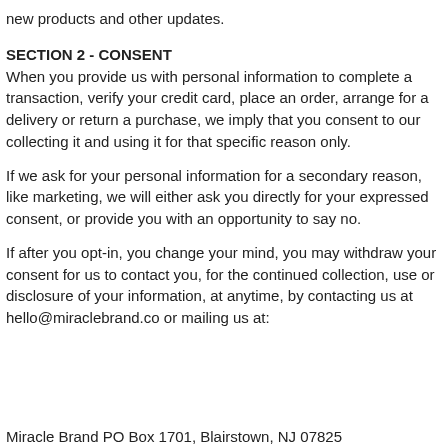new products and other updates.
SECTION 2 - CONSENT
When you provide us with personal information to complete a transaction, verify your credit card, place an order, arrange for a delivery or return a purchase, we imply that you consent to our collecting it and using it for that specific reason only.
If we ask for your personal information for a secondary reason, like marketing, we will either ask you directly for your expressed consent, or provide you with an opportunity to say no.
If after you opt-in, you change your mind, you may withdraw your consent for us to contact you, for the continued collection, use or disclosure of your information, at anytime, by contacting us at hello@miraclebrand.co or mailing us at:
Miracle Brand PO Box 1701, Blairstown, NJ 07825